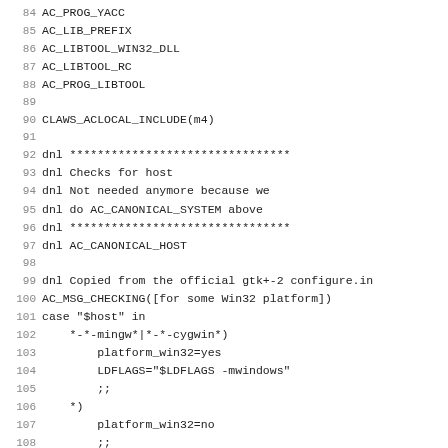Code listing lines 84-115, autoconf configure.in script
84 AC_PROG_YACC
85 AC_LIB_PREFIX
86 AC_LIBTOOL_WIN32_DLL
87 AC_LIBTOOL_RC
88 AC_PROG_LIBTOOL
89
90 CLAWS_ACLOCAL_INCLUDE(m4)
91
92 dnl ********************************
93 dnl Checks for host
94 dnl Not needed anymore because we
95 dnl do AC_CANONICAL_SYSTEM above
96 dnl ********************************
97 dnl AC_CANONICAL_HOST
98
99 dnl Copied from the official gtk+-2 configure.in
100 AC_MSG_CHECKING([for some Win32 platform])
101 case "$host" in
102     *-*-mingw*|*-*-cygwin*)
103         platform_win32=yes
104         LDFLAGS="$LDFLAGS -mwindows"
105         ;;
106     *)
107         platform_win32=no
108         ;;
109 esac
110 AC_MSG_RESULT([$platform_win32])
111 AM_CONDITIONAL(PLATFORM_WIN32, test x"$platform_win32"
112
113 AC_MSG_CHECKING([for native Win32])
114 case "$host" in
115     *-*-mingw*)